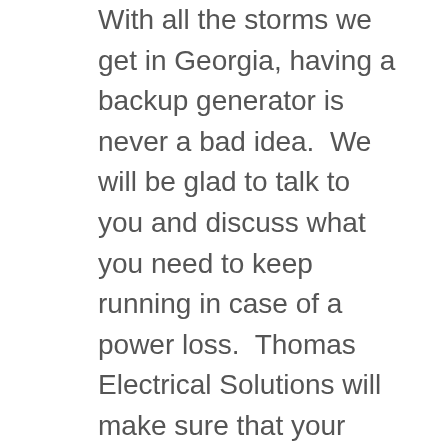With all the storms we get in Georgia, having a backup generator is never a bad idea.  We will be glad to talk to you and discuss what you need to keep running in case of a power loss.  Thomas Electrical Solutions will make sure that your needs are met and the generator is hooked up safely.  One less thing to worry about!
Custom Lighting
Thomas Electrical Solutions takes pride in helping our customers upgrade their lighting.  Whether it is adding recessed lights in your family room, upgrading the chandelier in the foyer, or adding a few floodlights we can help brighten your home.